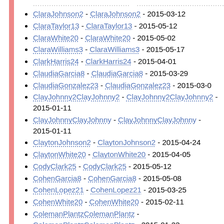ClaraJohnson2 - ClaraJohnson2 - 2015-03-12
ClaraTaylor13 - ClaraTaylor13 - 2015-05-12
ClaraWhite20 - ClaraWhite20 - 2015-05-02
ClaraWilliams3 - ClaraWilliams3 - 2015-05-17
ClarkHarris24 - ClarkHarris24 - 2015-04-01
ClaudiaGarcia8 - ClaudiaGarcia8 - 2015-03-29
ClaudiaGonzalez23 - ClaudiaGonzalez23 - 2015-03-0[truncated]
ClayJohnny2ClayJohnny2 - ClayJohnny2ClayJohnny2 - 2015-01-11
ClayJohnnyClayJohnny - ClayJohnnyClayJohnny - 2015-01-11
ClaytonJohnson2 - ClaytonJohnson2 - 2015-04-24
ClaytonWhite20 - ClaytonWhite20 - 2015-04-05
CodyClark25 - CodyClark25 - 2015-05-12
CohenGarcia8 - CohenGarcia8 - 2015-05-08
CohenLopez21 - CohenLopez21 - 2015-03-25
CohenWhite20 - CohenWhite20 - 2015-02-11
ColemanPlantzColemanPlantz - ColemanPlantzColemanPlantz - 2015-01-23
ColinThompson19 - ColinThompson19 - 2015-04-07
CollinGarcia8 - CollinGarcia8 - 2015-05-13
ColtenJohnson2 - ColtenJohnson2 - 2015-03-30